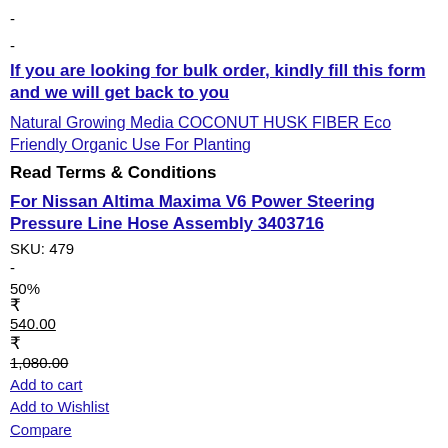-
-
If you are looking for bulk order, kindly fill this form and we will get back to you
Natural Growing Media COCONUT HUSK FIBER Eco Friendly Organic Use For Planting
Read Terms & Conditions
For Nissan Altima Maxima V6 Power Steering Pressure Line Hose Assembly 3403716
SKU: 479
-
50%
₹ 540.00
₹ 1,080.00
Add to cart
Add to Wishlist
Compare